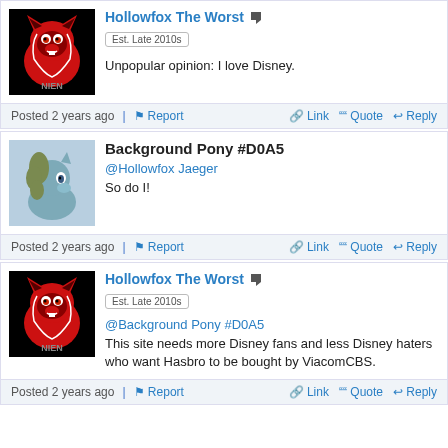[Figure (illustration): Red fox character avatar on black background with NIEN text]
Hollowfox The Worst
Est. Late 2010s
Unpopular opinion: I love Disney.
Posted 2 years ago   Report   Link   Quote   Reply
[Figure (illustration): Teal/green pony avatar on light blue background]
Background Pony #D0A5
@Hollowfox Jaeger
So do I!
Posted 2 years ago   Report   Link   Quote   Reply
[Figure (illustration): Red fox character avatar on black background with NIEN text]
Hollowfox The Worst
Est. Late 2010s
@Background Pony #D0A5
This site needs more Disney fans and less Disney haters who want Hasbro to be bought by ViacomCBS.
Posted 2 years ago   Report   Link   Quote   Reply